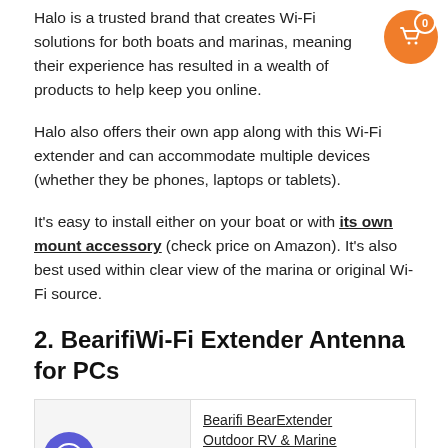Halo is a trusted brand that creates Wi-Fi solutions for both boats and marinas, meaning their experience has resulted in a wealth of products to help keep you online.
Halo also offers their own app along with this Wi-Fi extender and can accommodate multiple devices (whether they be phones, laptops or tablets).
It's easy to install either on your boat or with its own mount accessory (check price on Amazon). It's also best used within clear view of the marina or original Wi-Fi source.
2. BearifiWi-Fi Extender Antenna for PCs
[Figure (other): Product image placeholder for Bearifi BearExtender]
Bearifi BearExtender Outdoor RV & Marine High Power USB Wi-Fi